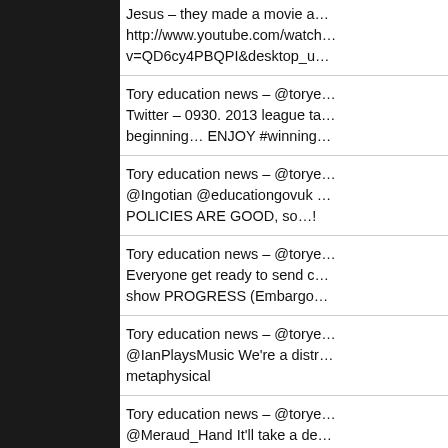Jesus – they made a movie a… http://www.youtube.com/watch… v=QD6cy4PBQPI&desktop_u…
Tory education news – @torye… Twitter – 0930. 2013 league ta… beginning… ENJOY #winning…
Tory education news – @torye… @Ingotian @educationgovuk … POLICIES ARE GOOD, so…!
Tory education news – @torye… Everyone get ready to send c… show PROGRESS (Embargo…
Tory education news – @torye… @IanPlaysMusic We're a distr… metaphysical
Tory education news – @torye… @Meraud_Hand It'll take a de… 2010-13
Tory education news – @torye…